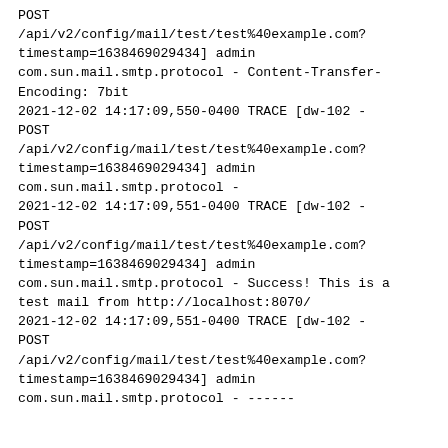POST /api/v2/config/mail/test/test%40example.com?timestamp=1638469029434] admin com.sun.mail.smtp.protocol - Content-Transfer-Encoding: 7bit
2021-12-02 14:17:09,550-0400 TRACE [dw-102 - POST /api/v2/config/mail/test/test%40example.com?timestamp=1638469029434] admin com.sun.mail.smtp.protocol -
2021-12-02 14:17:09,551-0400 TRACE [dw-102 - POST /api/v2/config/mail/test/test%40example.com?timestamp=1638469029434] admin com.sun.mail.smtp.protocol - Success! This is a test mail from http://localhost:8070/
2021-12-02 14:17:09,551-0400 TRACE [dw-102 - POST /api/v2/config/mail/test/test%40example.com?timestamp=1638469029434] admin com.sun.mail.smtp.protocol - ------